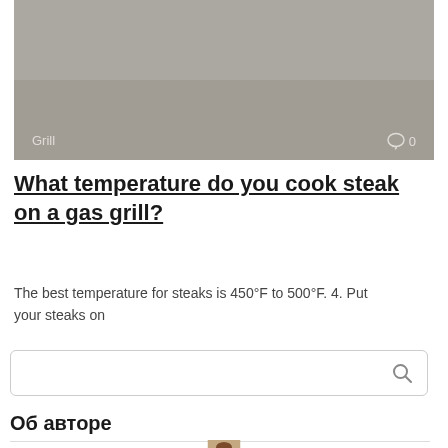[Figure (photo): Gray/beige toned image banner at top of article page, partially visible, with 'Grill' label on bottom left and comment icon with '0' on bottom right]
What temperature do you cook steak on a gas grill?
The best temperature for steaks is 450°F to 500°F. 4. Put your steaks on
Об авторе
[Figure (photo): Partial photo of a person with brown hair, cut off at bottom of page]